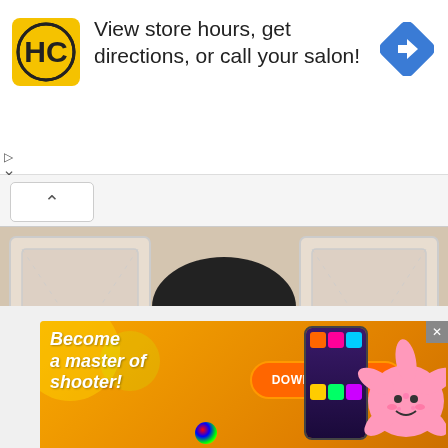[Figure (screenshot): Top advertisement banner for HC salon with logo and 'View store hours, get directions, or call your salon!' text and blue navigation arrow icon]
[Figure (screenshot): Video thumbnail showing a man with glasses wearing a pink shirt, seated in front of a white paneled background]
[Figure (screenshot): Mobile game advertisement with orange background: 'Become a master of shooter!' with DOWNLOAD NOW button and cartoon starfish character]